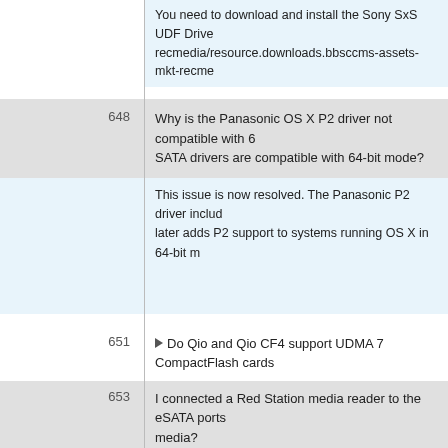You need to download and install the Sony SxS UDF Drive... recmedia/resource.downloads.bbsccms-assets-mkt-recme...
648  Why is the Panasonic OS X P2 driver not compatible with 6... SATA drivers are compatible with 64-bit mode?
This issue is now resolved. The Panasonic P2 driver includ... later adds P2 support to systems running OS X in 64-bit m...
651  ▶ Do Qio and Qio CF4 support UDMA 7 CompactFlash cards...
653  I connected a Red Station media reader to the eSATA ports... media?
Mac OS 10.7.5 will not mount FAT32 volumes connected t... and later.)
As a workaround, you can manually mount volumes with th...